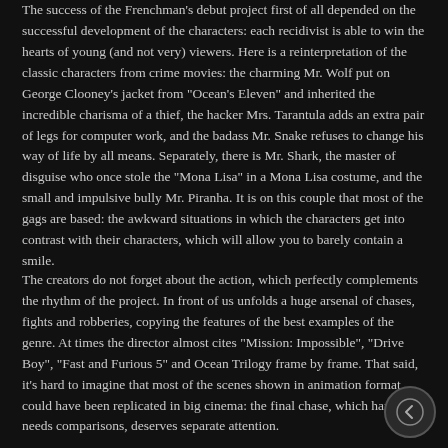The success of the Frenchman's debut project first of all depended on the successful development of the characters: each recidivist is able to win the hearts of young (and not very) viewers. Here is a reinterpretation of the classic characters from crime movies: the charming Mr. Wolf put on George Clooney's jacket from "Ocean's Eleven" and inherited the incredible charisma of a thief, the hacker Mrs. Tarantula adds an extra pair of legs for computer work, and the badass Mr. Snake refuses to change his way of life by all means. Separately, there is Mr. Shark, the master of disguise who once stole the "Mona Lisa" in a Mona Lisa costume, and the small and impulsive bully Mr. Piranha. It is on this couple that most of the gags are based: the awkward situations in which the characters get into contrast with their characters, which will allow you to barely contain a smile.
The creators do not forget about the action, which perfectly complements the rhythm of the project. In front of us unfolds a huge arsenal of chases, fights and robberies, copying the features of the best examples of the genre. At times the director almost cites "Mission: Impossible", "Drive Boy", "Fast and Furious 5" and Ocean Trilogy frame by frame. That said, it's hard to imagine that most of the scenes shown in animation format could have been replicated in big cinema: the final chase, which hardly needs comparisons, deserves separate attention.